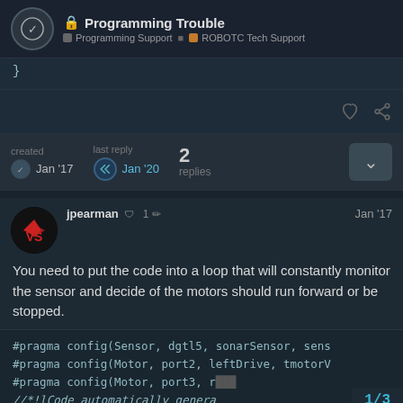🔒 Programming Trouble — Programming Support > ROBOTC Tech Support
}
created Jan '17  last reply Jan '20  2 replies
jpearman  1  Jan '17
You need to put the code into a loop that will constantly monitor the sensor and decide of the motors should run forward or be stopped.
#pragma config(Sensor, dgtl5, sonarSensor, sens
#pragma config(Motor, port2, leftDrive, tmotor
#pragma config(Motor, port3, r...
//*!lCode automatically genera
1/3